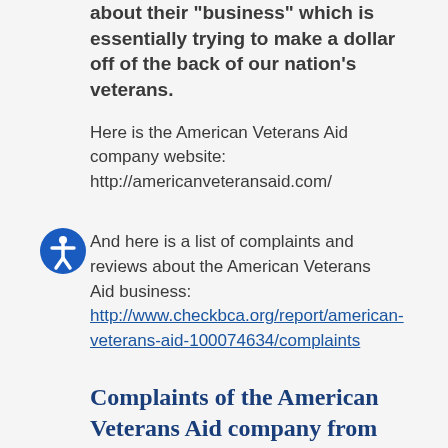about their “business” which is essentially trying to make a dollar off of the back of our nation’s veterans.
Here is the American Veterans Aid company website:
http://americanveteransaid.com/
And here is a list of complaints and reviews about the American Veterans Aid business:
http://www.checkbca.org/report/american-veterans-aid-100074634/complaints
Complaints of the American Veterans Aid company from our forums:
“After reading your blog and your story, I am